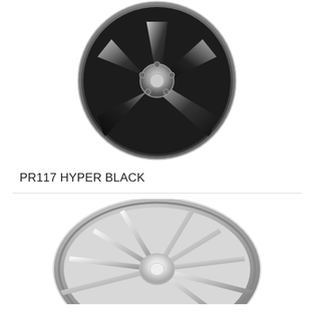[Figure (photo): A 5-spoke alloy wheel in Hyper Black finish, photographed at an angle showing the spoke detail and dark metallic surface with chrome accents.]
PR117 HYPER BLACK
Read more
[Figure (photo): A multi-spoke alloy wheel in chrome/polished silver finish, photographed at an angle showing double-ring outer barrel and spoke detail.]